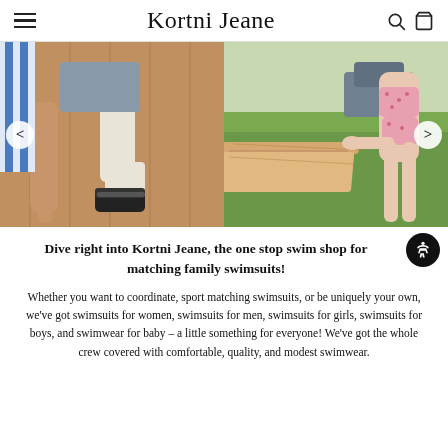Kortni Jeane – navigation bar with hamburger menu, brand logo, search icon, cart icon
[Figure (photo): Slideshow banner with two side-by-side photos: left photo shows person's legs and sneakers on wooden floor with a blue striped towel; right photo shows a woman in a floral swimsuit leaning on a wooden table on grass. Navigation arrows on left and right sides.]
Dive right into Kortni Jeane, the one stop swim shop for matching family swimsuits!
Whether you want to coordinate, sport matching swimsuits, or be uniquely your own, we've got swimsuits for women, swimsuits for men, swimsuits for girls, swimsuits for boys, and swimwear for baby – a little something for everyone! We've got the whole crew covered with comfortable, quality, and modest swimwear.